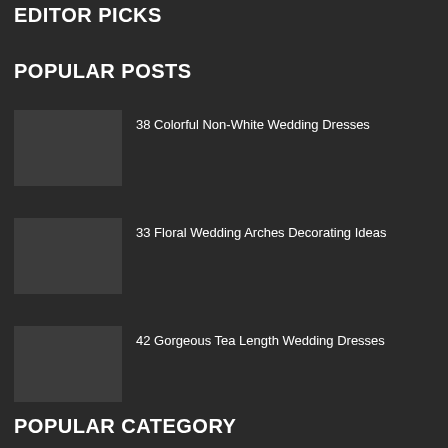EDITOR PICKS
POPULAR POSTS
38 Colorful Non-White Wedding Dresses
33 Floral Wedding Arches Decorating Ideas
42 Gorgeous Tea Length Wedding Dresses
POPULAR CATEGORY